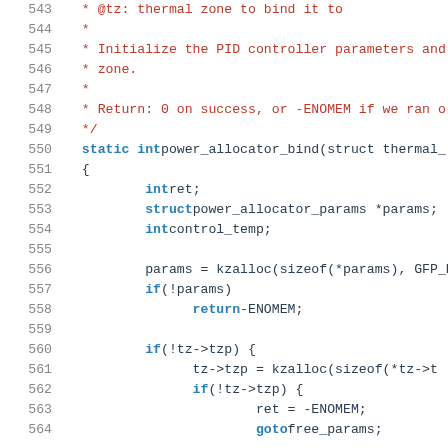[Figure (screenshot): Source code listing showing lines 543-564 of a C file implementing power_allocator_bind function with PID controller initialization and memory allocation logic]